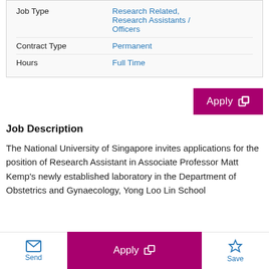| Field | Value |
| --- | --- |
| Job Type | Research Related, Research Assistants / Officers |
| Contract Type | Permanent |
| Hours | Full Time |
[Figure (other): Apply button (magenta) with external link icon]
Job Description
The National University of Singapore invites applications for the position of Research Assistant in Associate Professor Matt Kemp's newly established laboratory in the Department of Obstetrics and Gynaecology, Yong Loo Lin School
Send | Apply | Save